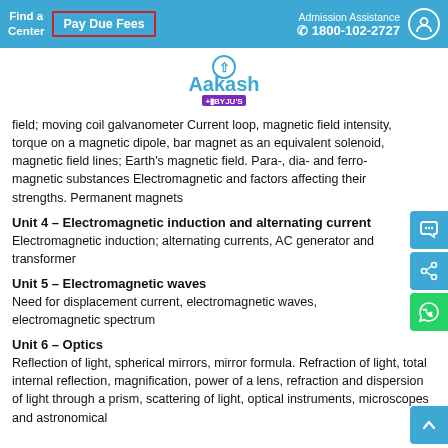Find a Center | Pay Due Fees | Admission Assistance 1800-102-2727
[Figure (logo): Aakash + BYJU'S logo]
field; moving coil galvanometer Current loop, magnetic field intensity, torque on a magnetic dipole, bar magnet as an equivalent solenoid, magnetic field lines; Earth's magnetic field. Para-, dia- and ferro-magnetic substances Electromagnetic and factors affecting their strengths. Permanent magnets
Unit 4 – Electromagnetic induction and alternating current
Electromagnetic induction; alternating currents, AC generator and transformer
Unit 5 – Electromagnetic waves
Need for displacement current, electromagnetic waves, electromagnetic spectrum
Unit 6 – Optics
Reflection of light, spherical mirrors, mirror formula. Refraction of light, total internal reflection, magnification, power of a lens, refraction and dispersion of light through a prism, scattering of light, optical instruments, microscopes and astronomical